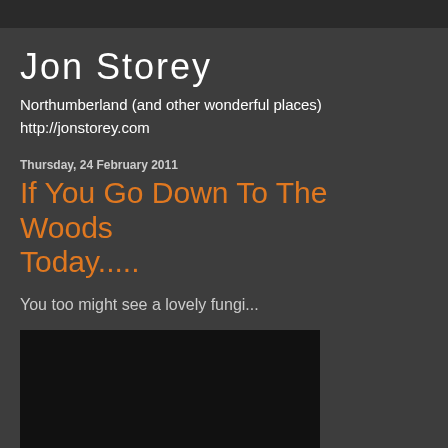Jon Storey
Northumberland (and other wonderful places)
http://jonstorey.com
Thursday, 24 February 2011
If You Go Down To The Woods Today.....
You too might see a lovely fungi...
[Figure (photo): A dark/mostly black photograph, likely taken in a woodland setting]